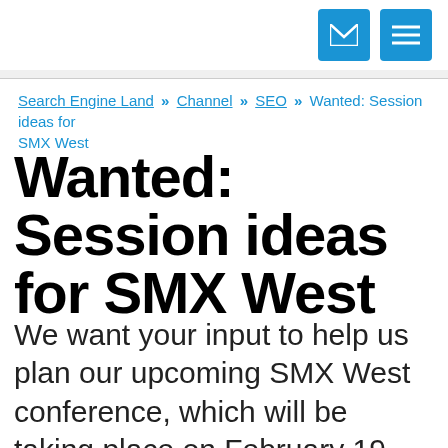[Mail icon] [Menu icon]
Search Engine Land » Channel » SEO » Wanted: Session ideas for SMX West
Wanted: Session ideas for SMX West
We want your input to help us plan our upcoming SMX West conference, which will be taking place on February 19 – 21, 2019 in San Jose. Specifically, we'd love to